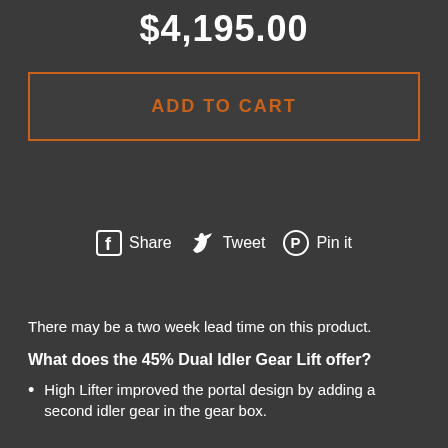$4,195.00
ADD TO CART
[Figure (infographic): Social share buttons: Facebook Share, Twitter Tweet, Pinterest Pin it]
There may be a two week lead time on this product.
What does the 45% Dual Idler Gear Lift offer?
High Lifter improved the portal design by adding a second idler gear in the gear box.